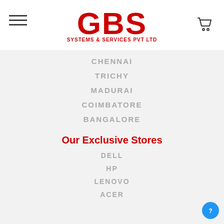GBS SYSTEMS & SERVICES PVT LTD
CHENNAI
TRICHY
MADURAI
COIMBATORE
BANGALORE
Our Exclusive Stores
DELL
HP
LENOVO
ACER